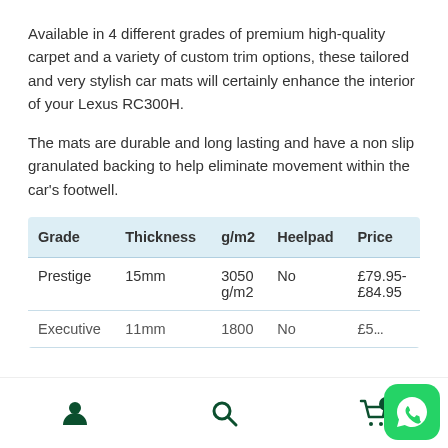Available in 4 different grades of premium high-quality carpet and a variety of custom trim options, these tailored and very stylish car mats will certainly enhance the interior of your Lexus RC300H.
The mats are durable and long lasting and have a non slip granulated backing to help eliminate movement within the car's footwell.
| Grade | Thickness | g/m2 | Heelpad | Price |
| --- | --- | --- | --- | --- |
| Prestige | 15mm | 3050 g/m2 | No | £79.95-£84.95 |
| Executive | 11mm | 1800 | No | £5... |
[Figure (other): Bottom navigation bar with user icon, search icon, cart icon with badge, and WhatsApp floating button]